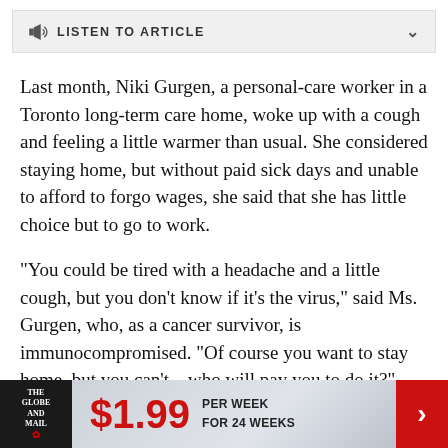LISTEN TO ARTICLE
Last month, Niki Gurgen, a personal-care worker in a Toronto long-term care home, woke up with a cough and feeling a little warmer than usual. She considered staying home, but without paid sick days and unable to afford to forgo wages, she said that she has little choice but to go to work.
“You could be tired with a headache and a little cough, but you don’t know if it’s the virus,” said Ms. Gurgen, who, as a cancer survivor, is immunocompromised. “Of course you want to stay home, but you can’t – who will pay you to do it?”
[Figure (other): The Globe and Mail advertisement banner: $1.99 PER WEEK FOR 24 WEEKS with a red arrow chevron on the right]